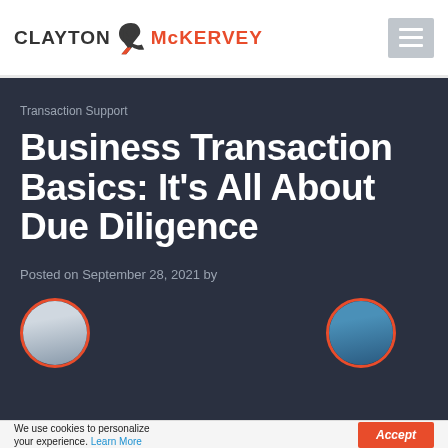CLAYTON & McKERVEY
Transaction Support
Business Transaction Basics: It's All About Due Diligence
Posted on September 28, 2021 by
[Figure (photo): Two circular author avatar photos with red borders, partially cropped at bottom of hero section]
We use cookies to personalize your experience. Learn More